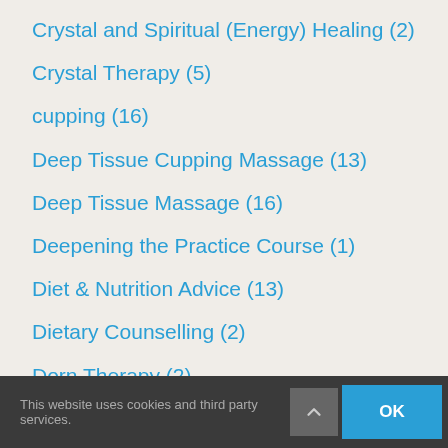Crystal and Spiritual (Energy) Healing (2)
Crystal Therapy (5)
cupping (16)
Deep Tissue Cupping Massage (13)
Deep Tissue Massage (16)
Deepening the Practice Course (1)
Diet & Nutrition Advice (13)
Dietary Counselling (2)
Dorn Therapy (2)
Dry Needling (19)
Ear Candling/Coning (35)
Emmett Technique (1)
Emotional Freedom Technique (EFT) (5)
This website uses cookies and third party services.   OK